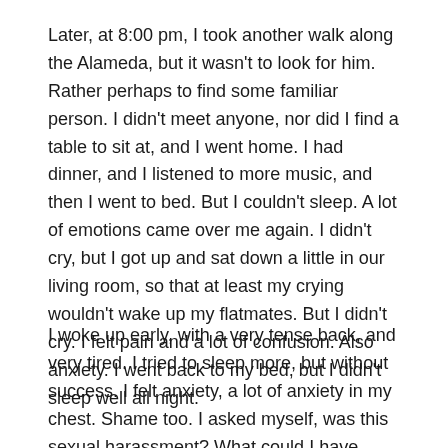Later, at 8:00 pm, I took another walk along the Alameda, but it wasn't to look for him. Rather perhaps to find some familiar person. I didn't meet anyone, nor did I find a table to sit at, and I went home. I had dinner, and I listened to more music, and then I went to bed. But I couldn't sleep. A lot of emotions came over me again. I didn't cry, but I got up and sat down a little in our living room, so that at least my crying wouldn't wake up my flatmates. But I didn't cry. I felt pain and a lot of confusion. Also anxiety. I went back to my bed, but I didn't sleep well all night.
I woke up early, with a very tense back, and very tired. I tried to sleep more, but without success. I felt anxiety, a lot of anxiety in my chest. Shame too. I asked myself, was this sexual harassment? What could I have done differently? But I also thought about my sexual desire, awakened because of what happened (although I don't...